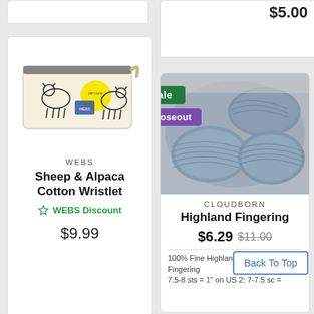$5.00
[Figure (photo): Sheep & Alpaca Cotton Wristlet bag with illustrated animals and yellow sun]
WEBS
Sheep & Alpaca Cotton Wristlet
WEBS Discount
$9.99
[Figure (photo): Skeins of blue-grey Highland Fingering yarn with Sale and Closeout badges]
CLOUDBORN
Highland Fingering
$6.29 $11.00
Back To Top
100% Fine Highland Wool
Fingering
7.5-8 sts = 1" on US 2; 7-7.5 sc =